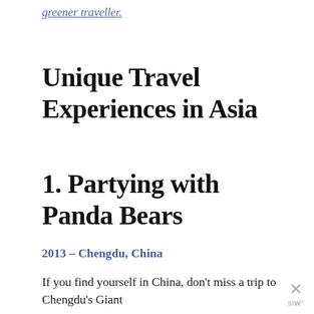greener traveller.
Unique Travel Experiences in Asia
1. Partying with Panda Bears
2013 – Chengdu, China
If you find yourself in China, don't miss a trip to Chengdu's Giant